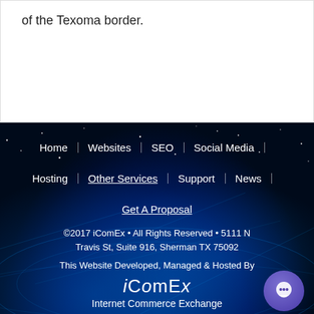of the Texoma border.
[Figure (illustration): Dark space/globe background with blue network connections representing internet commerce, used as website footer background]
Home | Websites | SEO | Social Media | Hosting | Other Services | Support | News | Get A Proposal
©2017 iComEx • All Rights Reserved • 5111 N Travis St, Suite 916, Sherman TX 75092
This Website Developed, Managed & Hosted By iComEx Internet Commerce Exchange